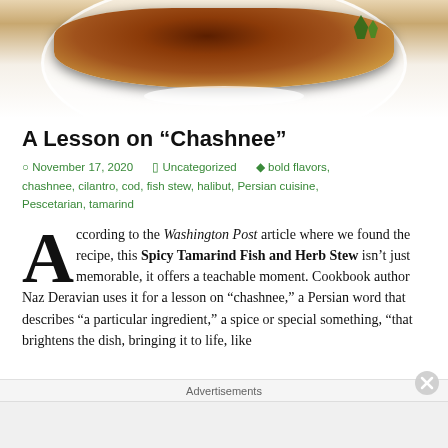[Figure (photo): Photo of a spicy fish stew dish on a white plate with rice and green herb garnish]
A Lesson on “Chashnee”
○ November 17, 2020    ■ Uncategorized    ◆ bold flavors, chashnee, cilantro, cod, fish stew, halibut, Persian cuisine, Pescetarian, tamarind
According to the Washington Post article where we found the recipe, this Spicy Tamarind Fish and Herb Stew isn’t just memorable, it offers a teachable moment. Cookbook author Naz Deravian uses it for a lesson on “chashnee,” a Persian word that describes “a particular ingredient,” a spice or special something, “that brightens the dish, bringing it to life, like
Advertisements